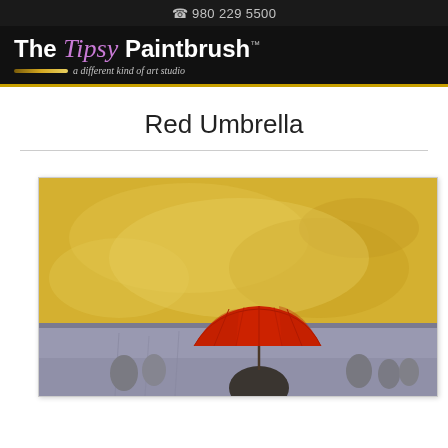980 229 5500
[Figure (logo): The Tipsy Paintbrush logo — white bold 'The', purple italic 'Tipsy', white bold 'Paintbrush' with TM mark, brush stroke line, italic tagline 'a different kind of art studio', on black background]
Red Umbrella
[Figure (photo): Painting of a figure holding a bright red umbrella viewed from behind, set against a warm yellow/golden sky background with muted grey-lavender lower section suggesting rain; additional figures in background]